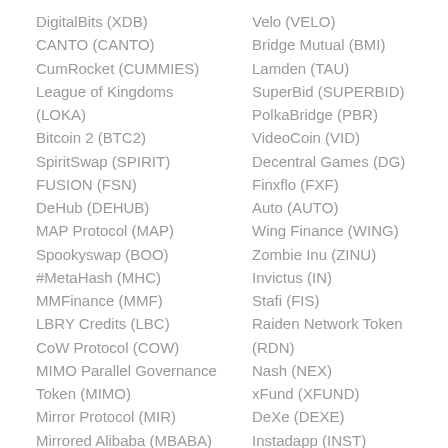DigitalBits (XDB)
CANTO (CANTO)
CumRocket (CUMMIES)
League of Kingdoms (LOKA)
Bitcoin 2 (BTC2)
SpiritSwap (SPIRIT)
FUSION (FSN)
DeHub (DEHUB)
MAP Protocol (MAP)
Spookyswap (BOO)
#MetaHash (MHC)
MMFinance (MMF)
LBRY Credits (LBC)
CoW Protocol (COW)
MIMO Parallel Governance Token (MIMO)
Mirror Protocol (MIR)
Mirrored Alibaba (MBABA)
Velo (VELO)
Bridge Mutual (BMI)
Lamden (TAU)
SuperBid (SUPERBID)
PolkaBridge (PBR)
VideoCoin (VID)
Decentral Games (DG)
Finxflo (FXF)
Auto (AUTO)
Wing Finance (WING)
Zombie Inu (ZINU)
Invictus (IN)
Stafi (FIS)
Raiden Network Token (RDN)
Nash (NEX)
xFund (XFUND)
DeXe (DEXE)
Instadapp (INST)